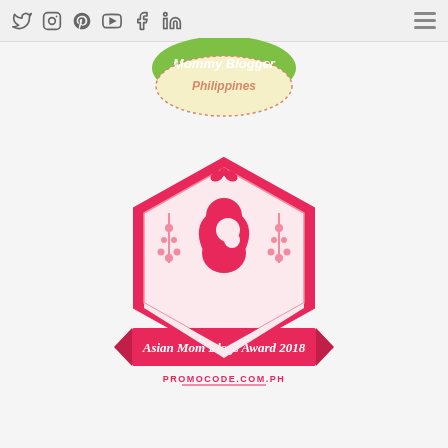Social media icons and navigation menu
[Figure (logo): Mommy Blogger Philippines logo — green curved shape on top with text 'Mommy Blogger' and cream/yellow curved shape below with text 'Philippines' in pink/coral, dotted border]
[Figure (logo): Asian Mom Blogs Award 2018 badge — hexagonal pink badge with mother and child silhouette, floral decorations, pink bow, red banner reading 'Asian Mom Blogs Award 2018', and text 'PROMOCODE.COM.PH' below]